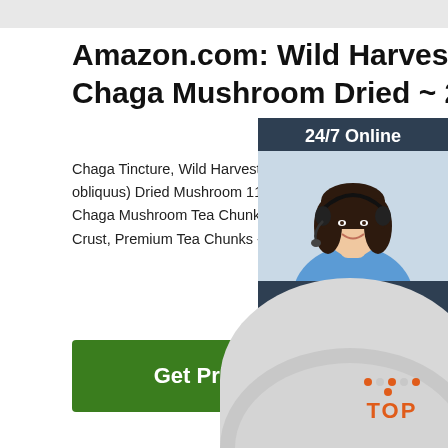Amazon.com: Wild Harvested Chaga Mushroom Dried ~ 2
Chaga Tincture, Wild Harvested Chaga Extract (obliquus) Dried Mushroom 11 $19.99 $ 19 . 99 ($ Chaga Mushroom Tea Chunks - 4 Ounce, 80% B Crust, Premium Tea Chunks - Antioxidants, Heal
[Figure (screenshot): Green Get Price button]
[Figure (photo): Chat widget with 24/7 Online label, woman with headset, Click here for free chat text, and orange QUOTATION button]
[Figure (photo): Circular product image showing gray powder or mushroom product]
[Figure (logo): TOP logo with orange dots and text in orange on lower right]